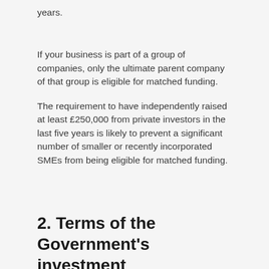years.
If your business is part of a group of companies, only the ultimate parent company of that group is eligible for matched funding.
The requirement to have independently raised at least £250,000 from private investors in the last five years is likely to prevent a significant number of smaller or recently incorporated SMEs from being eligible for matched funding.
2. Terms of the Government's investment